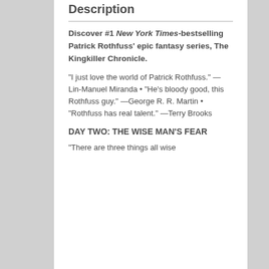Description
Discover #1 New York Times-bestselling Patrick Rothfuss' epic fantasy series, The Kingkiller Chronicle.
“I just love the world of Patrick Rothfuss.” —Lin-Manuel Miranda • “He’s bloody good, this Rothfuss guy.” —George R. R. Martin • “Rothfuss has real talent.” —Terry Brooks
DAY TWO: THE WISE MAN’S FEAR
“There are three things all wise